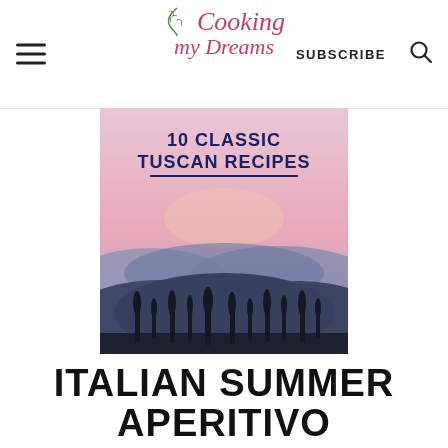Cooking my Dreams — SUBSCRIBE
[Figure (illustration): Book cover for '10 Classic Tuscan Recipes — A Cookbook and Guide to Traditional Tuscan Cuisine' by Jessica Montanelli, Cooking my Dreams. Cover features a Tuscan landscape at sunset with silhouetted cypress trees and rolling hills.]
ITALIAN SUMMER APERITIVO